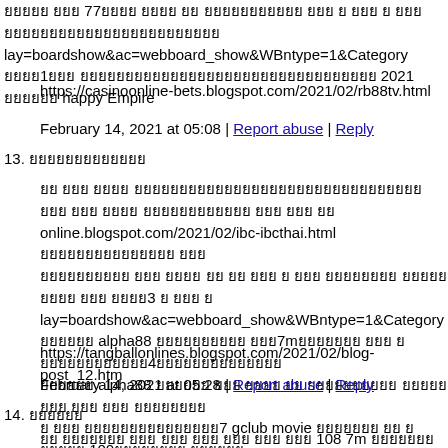ยยยยย ยยย 77ยยยย ยยยย ยย ยยยยยยยยยยย ยยย ย ยยย ย ยยย ยยยยยยยยยยยยยยยยยยยยยยยย lay=boardshow&ac=webboard_show&WBntype=1&Category ยยยย1ยยย ยยยยยยยยยยยยยยยยยยยยยยยยยยยยยยยยย 2021 ยยยยยย happy Empire
https://casinoonline-bets.blogspot.com/2021/02/rb88tv.html
February 14, 2021 at 05:08 | Report abuse | Reply
13. ยยยยยยยยยยยยย
ยย ยยย ยยยย ยยยยยยยยยยยยยยยยยยยยยยยยยยยยยยยย ยยย ยยย ยยยย ยยยยยยยยยยยย ยยย ยยย ยย online.blogspot.com/2021/02/ibc-ibcthai.html ยยยยยยยยยยยยยยย ยยย ยยยยยยยยยย ยยย ยยยย ยย ยย ยยย ย ยยย ยยยยยยยย ยยยยย ยยยย ยยย ยยยย3 ย ยยย ย lay=boardshow&ac=webboard_show&WBntype=1&Category ยยยยยย alpha88 ยยยยยยยยยย ยยย7mยยยยยยย ยยย ย ยยยยยยยยยยยย4ยยยยยยยยยยยยยย ยยยยยย alpha88 ยยยยยย ยยย ยยยย ยย ยยยยยยยยยย ยยยยย ยยย ยยย ยยย ยยยยยยยย ย ยยย ยยยยยยยยยยยยยยย7 gclub movie ยยยยยยย ยย ย ยยยยย 100ยยยยยยยย ยยยยยย ยยยยยยยย ยยย ยยยยยยยยย ยยยยยย ยยย ยยยยยยยยยยยยยยย ยยย ยยยยยยยย ยยย ยยยยยยยย ยยยpolball ยยยยยยยยยยยยยยยย ยยย ยยยย 7m10ยยยยยยยยยยยยยยยยยยยยยยยยยยยยยยยยยย
https://tangballonlines.blogspot.com/2021/02/blog-post_12.htm
February 14, 2021 at 05:28 | Report abuse | Reply
14. ยยยยยย
ยย ยยยยยยย ยยย ยยย ยยย ยยย ยยย ยยย 108 7m ยยยยยยย ยยย ยยย ยยย ยยยยยยยย